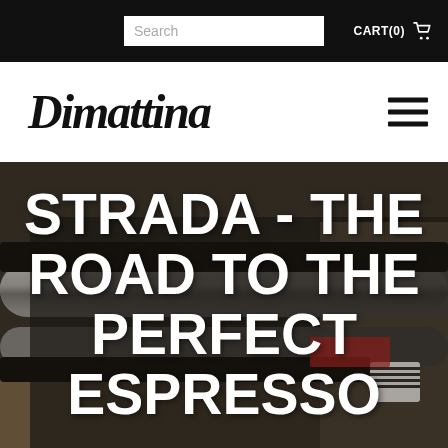Search   CART(0)
Dimattina
[Figure (photo): Close-up photograph of an espresso machine (La Marzocco Strada) on a cafe counter, with text overlay reading STRADA - THE ROAD TO THE PERFECT ESPRESSO in large bold white uppercase letters]
STRADA - THE ROAD TO THE PERFECT ESPRESSO